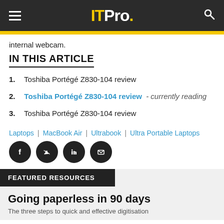ITPro.
internal webcam.
IN THIS ARTICLE
1. Toshiba Portégé Z830-104 review
2. Toshiba Portégé Z830-104 review - currently reading
3. Toshiba Portégé Z830-104 review
Laptops | MacBook Air | Ultrabook | Ultra Portable Laptops
[Figure (other): Social sharing icons: Facebook, Twitter, LinkedIn, Email]
FEATURED RESOURCES
Going paperless in 90 days
The three steps to quick and effective digitisation